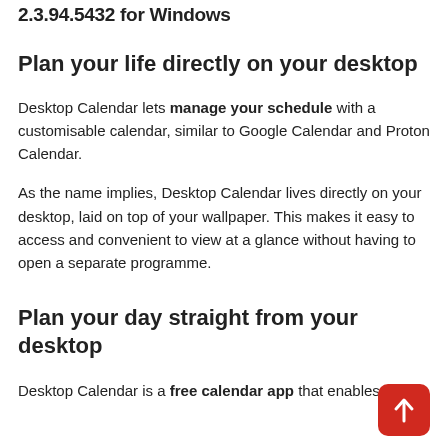2.3.94.5432 for Windows
Plan your life directly on your desktop
Desktop Calendar lets manage your schedule with a customisable calendar, similar to Google Calendar and Proton Calendar.
As the name implies, Desktop Calendar lives directly on your desktop, laid on top of your wallpaper. This makes it easy to access and convenient to view at a glance without having to open a separate programme.
Plan your day straight from your desktop
Desktop Calendar is a free calendar app that enables you to